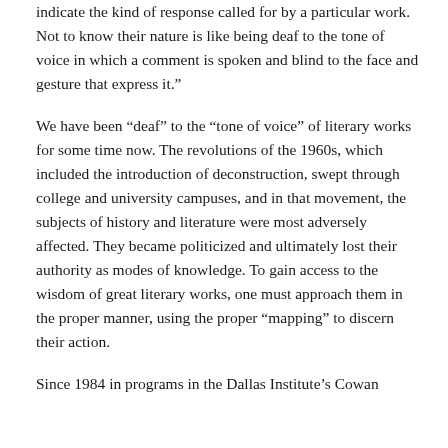indicate the kind of response called for by a particular work. Not to know their nature is like being deaf to the tone of voice in which a comment is spoken and blind to the face and gesture that express it.”
We have been “deaf” to the “tone of voice” of literary works for some time now. The revolutions of the 1960s, which included the introduction of deconstruction, swept through college and university campuses, and in that movement, the subjects of history and literature were most adversely affected. They became politicized and ultimately lost their authority as modes of knowledge. To gain access to the wisdom of great literary works, one must approach them in the proper manner, using the proper “mapping” to discern their action.
Since 1984 in programs in the Dallas Institute’s Cowan